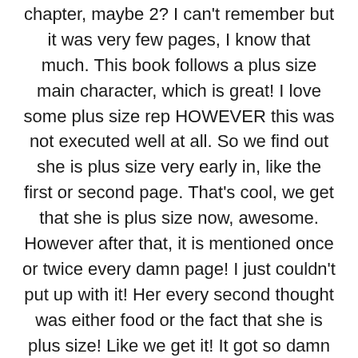chapter, maybe 2? I can't remember but it was very few pages, I know that much. This book follows a plus size main character, which is great! I love some plus size rep HOWEVER this was not executed well at all. So we find out she is plus size very early in, like the first or second page. That's cool, we get that she is plus size now, awesome. However after that, it is mentioned once or twice every damn page! I just couldn't put up with it! Her every second thought was either food or the fact that she is plus size! Like we get it! It got so damn monotonous so quickly! Honestly I am so glad I didn't bother with this book after reading some reviews. I highly recommend checking out THIS review on